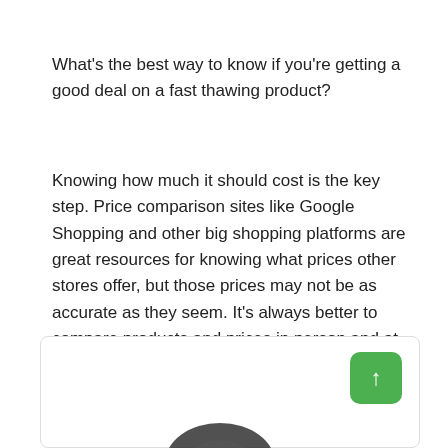What's the best way to know if you're getting a good deal on a fast thawing product?
Knowing how much it should cost is the key step. Price comparison sites like Google Shopping and other big shopping platforms are great resources for knowing what prices other stores offer, but those prices may not be as accurate as they seem. It's always better to compare products and prices in person and at different stores before making your decision!
[Figure (photo): A card/box area with a green upward arrow button and a partial product image at the bottom]